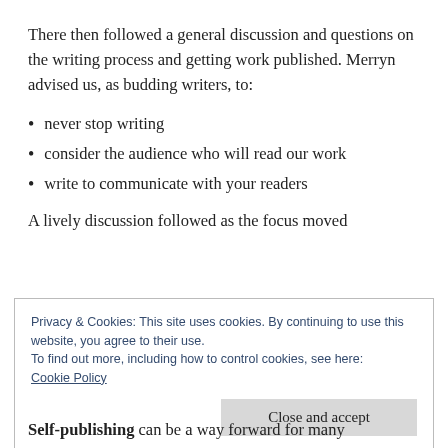There then followed a general discussion and questions on the writing process and getting work published. Merryn advised us, as budding writers, to:
never stop writing
consider the audience who will read our work
write to communicate with your readers
A lively discussion followed as the focus moved
Privacy & Cookies: This site uses cookies. By continuing to use this website, you agree to their use.
To find out more, including how to control cookies, see here: Cookie Policy
Self-publishing can be a way forward for many